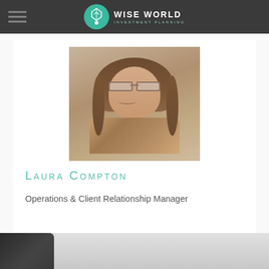[Figure (logo): Wise World Investment Planning logo with teal circular emblem and white text on dark grey navigation bar]
[Figure (photo): Professional headshot of Laura Compton, a woman with long brown hair and glasses, wearing a patterned top, smiling at camera]
Laura Compton
Operations & Client Relationship Manager
[Figure (photo): Partial view of another person in dark clothing at the bottom of the page]